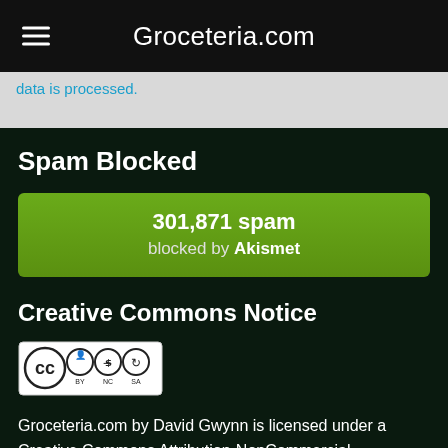Groceteria.com
data is processed.
Spam Blocked
[Figure (infographic): Green Akismet spam counter box showing 301,871 spam blocked by Akismet]
Creative Commons Notice
[Figure (logo): Creative Commons BY NC SA license logo]
Groceteria.com by David Gwynn is licensed under a Creative Commons Attribution-NonCommercial-ShareAlike 4.0 International License.
Photos are a mix of my own work and other images assumed to be